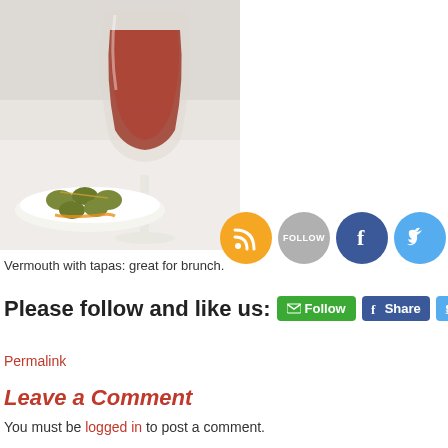[Figure (photo): Photo of a wine glass with a reddish-brown drink (vermouth) and a plate of green olives on a white table]
Vermouth with tapas: great for brunch.
Please follow and like us:
Permalink
Leave a Comment
You must be logged in to post a comment.